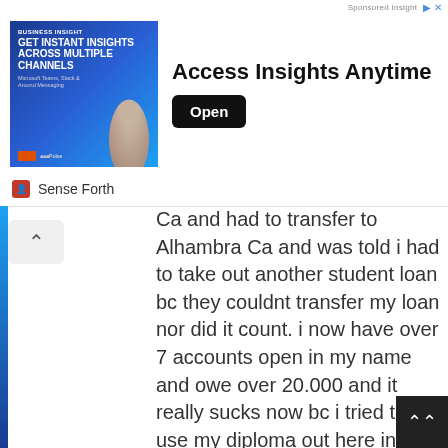[Figure (other): Advertisement banner for 'Access Insights Anytime' with blue marketing image on left and headline with Open button on right]
Sense Forth
Ca and had to transfer to Alhambra Ca and was told i had to take out another student loan bc they couldnt transfer my loan nor did it count. i now have over 7 accounts open in my name and owe over 20.000 and it really sucks now bc i tried to use my diploma out here in Las Vegas and they told me my creditably isnt good out here i went to school from may 2013- oct 2013 … and im just finding out about this. and got my taxes taken from me 2 years in a roll… smh its all bull! and im tired of them taking my hard earn money from my family!!!!